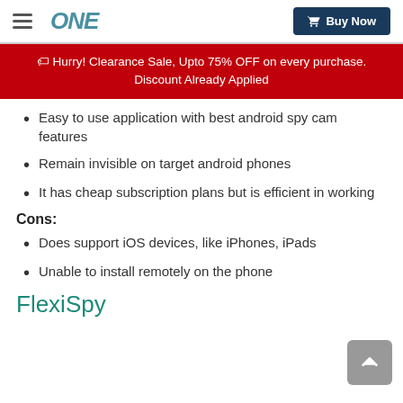ONE  Buy Now
Hurry! Clearance Sale, Upto 75% OFF on every purchase. Discount Already Applied
Easy to use application with best android spy cam features
Remain invisible on target android phones
It has cheap subscription plans but is efficient in working
Cons:
Does support iOS devices, like iPhones, iPads
Unable to install remotely on the phone
FlexiSpy